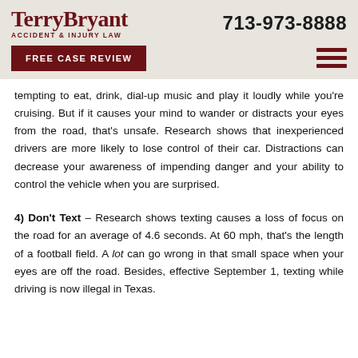TerryBryant ACCIDENT & INJURY LAW | 713-973-8888
FREE CASE REVIEW
tempting to eat, drink, dial-up music and play it loudly while you're cruising. But if it causes your mind to wander or distracts your eyes from the road, that's unsafe. Research shows that inexperienced drivers are more likely to lose control of their car. Distractions can decrease your awareness of impending danger and your ability to control the vehicle when you are surprised.
4) Don't Text – Research shows texting causes a loss of focus on the road for an average of 4.6 seconds. At 60 mph, that's the length of a football field. A lot can go wrong in that small space when your eyes are off the road. Besides, effective September 1, texting while driving is now illegal in Texas.